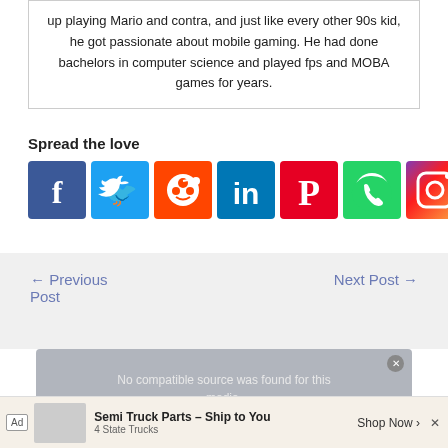up playing Mario and contra, and just like every other 90s kid, he got passionate about mobile gaming. He had done bachelors in computer science and played fps and MOBA games for years.
Spread the love
[Figure (illustration): Social media sharing icons: Facebook (blue), Twitter (light blue), Reddit (orange), LinkedIn (teal), Pinterest (red), WhatsApp (green), Instagram (gradient pink-purple)]
← Previous Post
Next Post →
[Figure (screenshot): Video player overlay showing 'No compatible source was found for this media.' with a close button]
[Figure (infographic): Ad banner: Semi Truck Parts - Ship to You, 4 State Trucks, Shop Now]